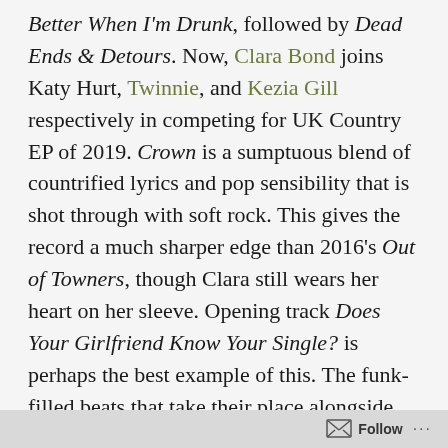Better When I'm Drunk, followed by Dead Ends & Detours. Now, Clara Bond joins Katy Hurt, Twinnie, and Kezia Gill respectively in competing for UK Country EP of 2019. Crown is a sumptuous blend of countrified lyrics and pop sensibility that is shot through with soft rock. This gives the record a much sharper edge than 2016's Out of Towners, though Clara still wears her heart on her sleeve. Opening track Does Your Girlfriend Know Your Single? is perhaps the best example of this. The funk-filled beats that take their place alongside the straight-talking electric guitar produce a real kick-ass attitude that wonderfully complements her frank and honest storytelling. It is a great choice for a lead song. This is then followed by Baby, You've Been On My Mind, a poignant and elegantly-
Follow